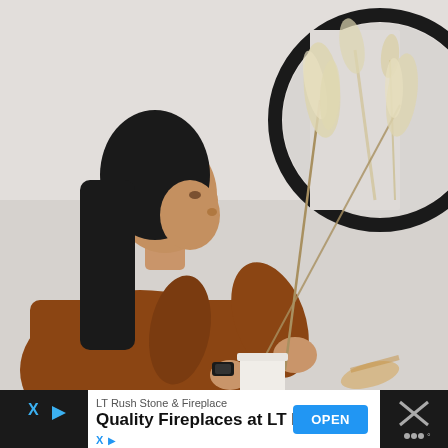[Figure (photo): A woman with dark hair wearing a brown/rust sweater holds two dried pampas grass stems, viewed from the side. She appears to be arranging them. In the upper right is a large round black-framed mirror on a white wall. The mirror reflects the pampas grass stems and white wall behind. The setting is a minimalist interior space.]
LT Rush Stone & Fireplace
Quality Fireplaces at LT Rush